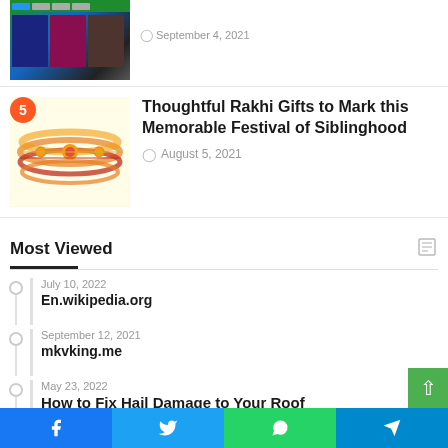[Figure (screenshot): Thumbnail image of a website with movie/entertainment content]
September 4, 2021
[Figure (photo): Rakhi bracelets on white background with number 5 badge]
Thoughtful Rakhi Gifts to Mark this Memorable Festival of Siblinghood
August 5, 2021
Most Viewed
July 10, 2022
En.wikipedia.org
September 12, 2021
mkvking.me
May 23, 2022
How to Fix Hail Damage to Your Roof
September 4, 2021